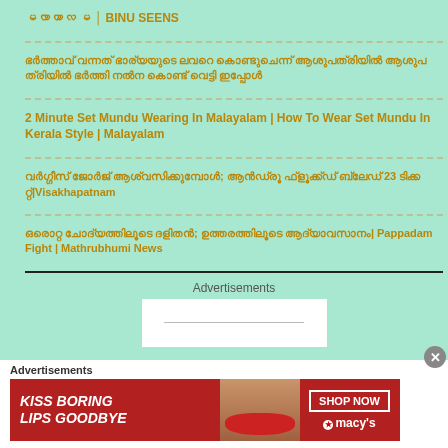മലയാളം സ്ത്രീകൾ I BINU SEENS
ഭർത്താവ് വന്നത് ഭാര്യയുടെ ലവറെ കൊണ്ടുചെന്ന് ആശുപത്രിയിൽ ഭർത്താവ് ബ്ലേഡ് കൊണ്ട് വെട്ടി ഇപ്പോൾ
2 Minute Set Mundu Wearing In Malayalam | How To Wear Set Mundu In Kerala Style | Malayalam
വർഗ്ഗീസ് ജോർജ് ആശ്വസിക്കുമ്പോൾ; ആൻഡ്രൂ​ ഫ്‌ളൂക്ക്ഡ് ബ്ലേഡ് 23 ടക്കറ്റുകൾ|Visakhapatnam
ഒരൊറ്റ ചോദ്യത്തിലൂടെ ദളിതൻ; ഉത്തരത്തിലൂടെ ആദ്യാവസാനം| Pappadam Fight | Mathrubhumi News
Advertisements
Advertisements
[Figure (photo): Advertisement banner: KISS BORING LIPS GOODBYE with woman's face and red lips, SHOP NOW button, macy's logo with star]